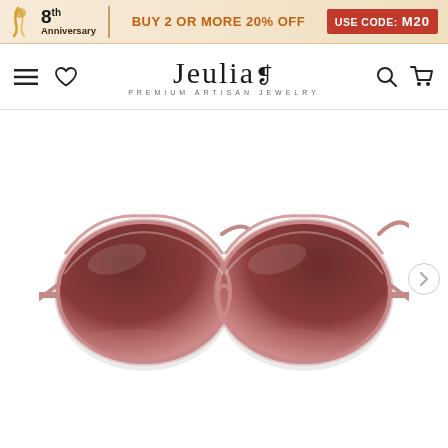8th Anniversary | BUY 2 OR MORE 20% OFF | USE CODE: M20
[Figure (logo): Jeulia Premium Artisan Jewelry logo with navigation icons (hamburger menu, heart, search, cart)]
[Figure (photo): Rose gold cat-eye sunglasses with gradient brown lenses, displayed on white background, product photo for Jeulia jewelry/accessories website]